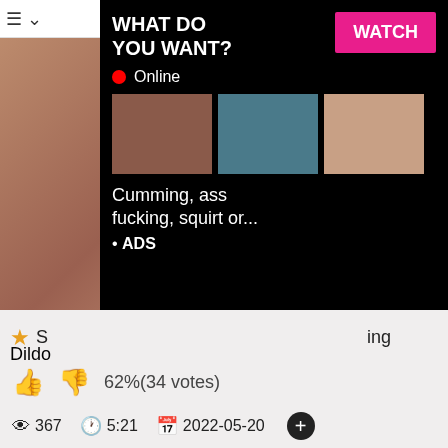[Figure (screenshot): Adult video website screenshot with ad overlay showing WHAT DO YOU WANT? WATCH button, Online indicator, thumbnails, and text 'Cumming, ass fucking, squirt or... ADS']
S... Dildo... ing
62%(34 votes)
367  5:21  2022-05-20